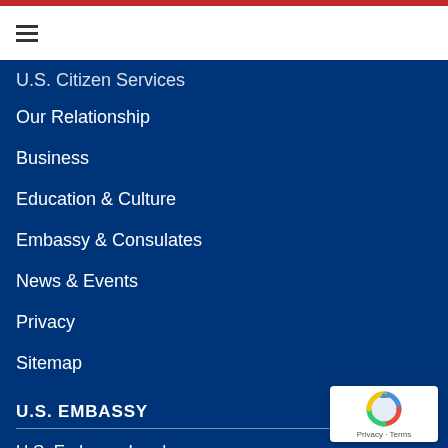☰
U.S. Citizen Services
Our Relationship
Business
Education & Culture
Embassy & Consulates
News & Events
Privacy
Sitemap
U.S. EMBASSY
U.S. Embassy London
33 Nine Elms Lane
London, SW11 7US